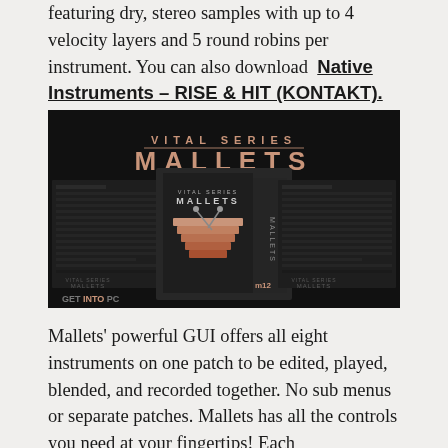featuring dry, stereo samples with up to 4 velocity layers and 5 round robins per instrument. You can also download Native Instruments – RISE & HIT (KONTAKT).
[Figure (photo): Product image for 'Vital Series Mallets' — a dark-themed software instrument box art showing 'VITAL SERIES MALLETS' text in copper/rose-gold letters on black background, with a physical product box depicting a xylophone/marimba, flanked by two screenshots of the plugin GUI. A 'GET INTO PC' watermark is visible in the lower left.]
Mallets' powerful GUI offers all eight instruments on one patch to be edited, played, blended, and recorded together. No sub menus or separate patches. Mallets has all the controls you need at your fingertips! Each